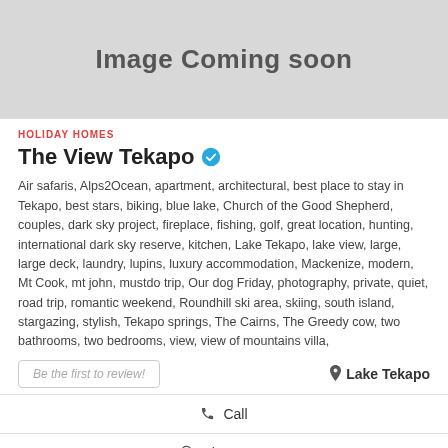[Figure (illustration): Gray placeholder image with text 'Image Coming soon']
HOLIDAY HOMES
The View Tekapo ✓
Air safaris, Alps2Ocean, apartment, architectural, best place to stay in Tekapo, best stars, biking, blue lake, Church of the Good Shepherd, couples, dark sky project, fireplace, fishing, golf, great location, hunting, international dark sky reserve, kitchen, Lake Tekapo, lake view, large, large deck, laundry, lupins, luxury accommodation, Mackenize, modern, Mt Cook, mt john, mustdo trip, Our dog Friday, photography, private, quiet, road trip, romantic weekend, Roundhill ski area, skiing, south island, stargazing, stylish, Tekapo springs, The Cairns, The Greedy cow, two bathrooms, two bedrooms, view, view of mountains villa,
Be the first to review!
Lake Tekapo
Call
Show Map